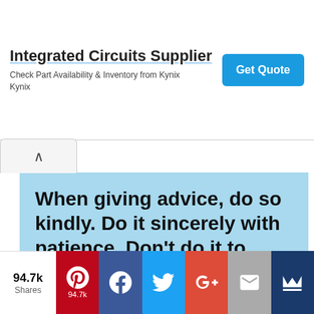[Figure (screenshot): Web advertisement banner for Integrated Circuits Supplier (Kynix). Contains title 'Integrated Circuits Supplier', subtitle 'Check Part Availability & Inventory from Kynix Kynix', and a blue 'Get Quote' button. Small ad icon and close X in top right.]
[Figure (screenshot): Light blue image with bold black quote text: 'When giving advice, do so kindly. Do it sincerely with patience. Don't do it to show that you are more intelligent or better than others']
94.7k Shares